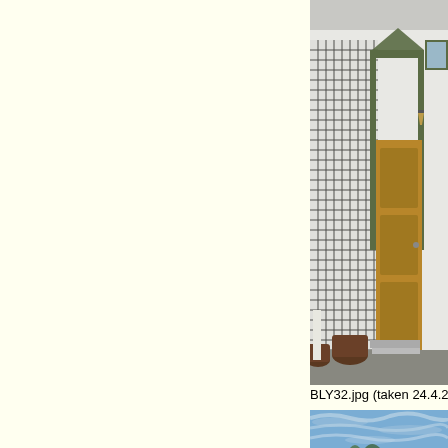[Figure (photo): Photograph of a white building facade with a wooden door, decorative trellis lattice, green-painted window frames and door surround with triangular pediment, wall-mounted lantern, and stone steps. Some barrels visible at ground level. Taken on 24.4.2006.]
BLY32.jpg (taken 24.4.2006)
[Figure (photo): Photograph showing a light blue sky with wispy cloud formations and hints of tree branches at the bottom edge.]